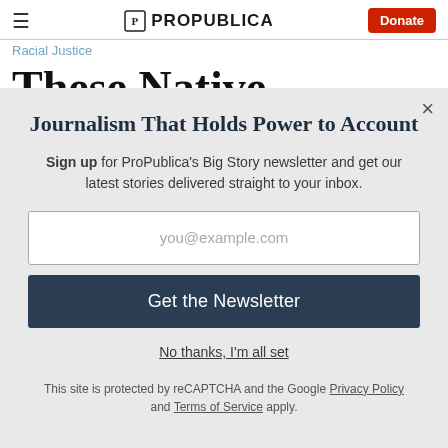ProPublica — Donate
Racial Justice
These Native Hawaiians
Journalism That Holds Power to Account
Sign up for ProPublica's Big Story newsletter and get our latest stories delivered straight to your inbox.
you@example.com
Get the Newsletter
No thanks, I'm all set
This site is protected by reCAPTCHA and the Google Privacy Policy and Terms of Service apply.